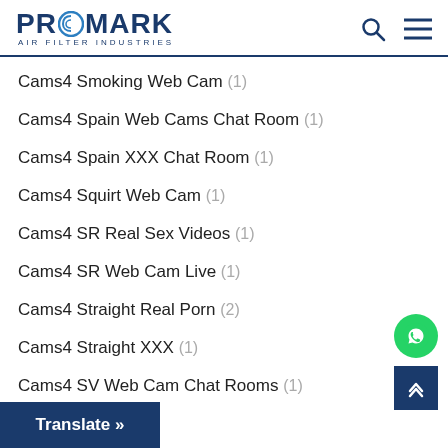PROMARK AIR FILTER INDUSTRIES
Cams4 Smoking Web Cam (1)
Cams4 Spain Web Cams Chat Room (1)
Cams4 Spain XXX Chat Room (1)
Cams4 Squirt Web Cam (1)
Cams4 SR Real Sex Videos (1)
Cams4 SR Web Cam Live (1)
Cams4 Straight Real Porn (2)
Cams4 Straight XXX (1)
Cams4 SV Web Cam Chat Rooms (1)